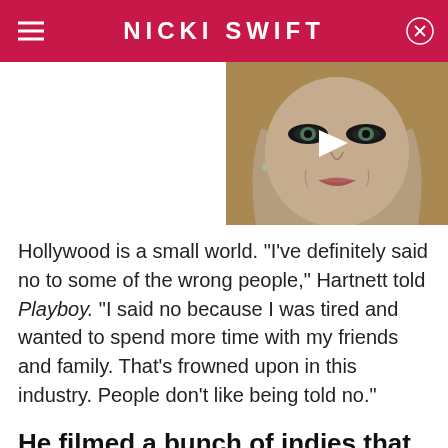NICKI SWIFT
[Figure (photo): Video thumbnail showing a blonde woman with dramatic eye makeup and a white play button overlay]
Hollywood is a small world. "I've definitely said no to some of the wrong people," Hartnett told Playboy. "I said no because I was tired and wanted to spend more time with my friends and family. That's frowned upon in this industry. People don't like being told no."
He filmed a bunch of indies that nobody saw
[Figure (photo): Bottom portion of a man's face, partially cropped]